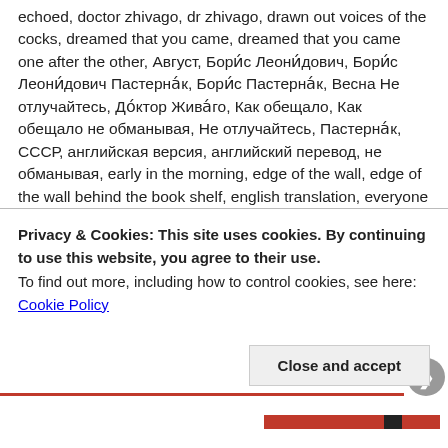echoed, doctor zhivago, dr zhivago, drawn out voices of the cocks, dreamed that you came, dreamed that you came one after the other, Август, Борис Леонидович, Борис Леонидович Пастернак, Борис Пастернак, Весна Не отлучайтесь, Доктор Живаго, Как обещало, Как обещало не обманывая, Не отлучайтесь, Пастернак, СССР, английская версия, английский перевод, не обманывая, early in the morning, edge of the wall, edge of the wall behind the book shelf, english translation, everyone physically sensed physically sensed, fallen silent, farewell, farewell to the woman, farewell to the woman throwing down a challenge, fateful hour, former prophetic voice, free stubbornness, free stubbornness of flight, from the curtain to the divan, futurist, futurist movement, futurist poet, gazes to itself, ginger red, ginger red cemetery copse, glowed like a honey cake, gold of the second Salvation, graveyard, honey cake, hot ochre, houses of the village, I am your battlefield, I dreamed that you came one after the other through the forest to see me off, I
Privacy & Cookies: This site uses cookies. By continuing to use this website, you agree to their use. To find out more, including how to control cookies, see here: Cookie Policy
Close and accept